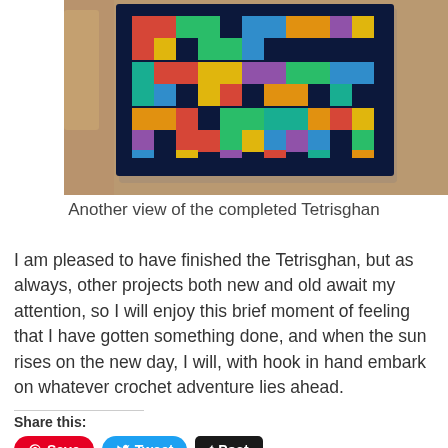[Figure (photo): Photo of a completed Tetrisghan crochet blanket with colorful Tetris-piece pattern on a wooden surface, viewed from above]
Another view of the completed Tetrisghan
I am pleased to have finished the Tetrisghan, but as always, other projects both new and old await my attention, so I will enjoy this brief moment of feeling that I have gotten something done, and when the sun rises on the new day, I will, with hook in hand embark on whatever crochet adventure lies ahead.
Share this: